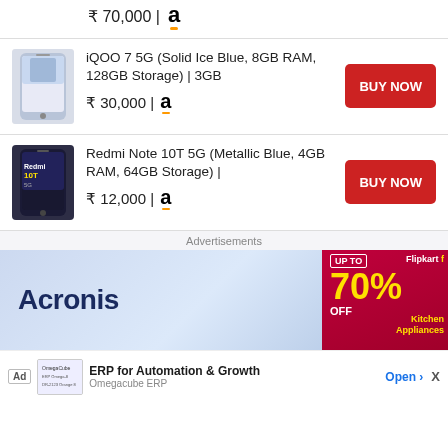₹ 70,000 | Amazon
[Figure (photo): iQOO 7 5G smartphone product image (Solid Ice Blue color)]
iQOO 7 5G (Solid Ice Blue, 8GB RAM, 128GB Storage) | 3GB
₹ 30,000 | Amazon
[Figure (photo): Redmi Note 10T 5G smartphone product image (Metallic Blue color)]
Redmi Note 10T 5G (Metallic Blue, 4GB RAM, 64GB Storage) |
₹ 12,000 | Amazon
Advertisements
[Figure (photo): Acronis advertisement banner with blue gradient background]
[Figure (photo): Flipkart Kitchen Appliances ad showing UP TO 70% OFF]
Ad | ERP for Automation & Growth | Omegacube ERP | Open